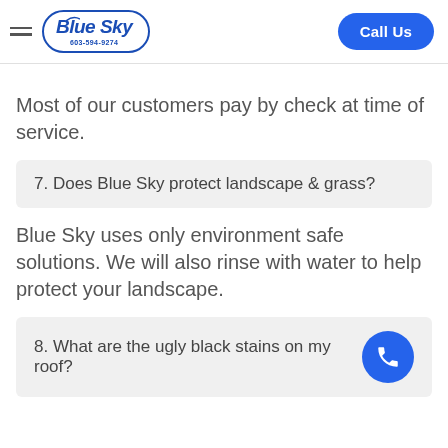Blue Sky 603-594-9274 | Call Us
Most of our customers pay by check at time of service.
7. Does Blue Sky protect landscape & grass?
Blue Sky uses only environment safe solutions. We will also rinse with water to help protect your landscape.
8. What are the ugly black stains on my roof?